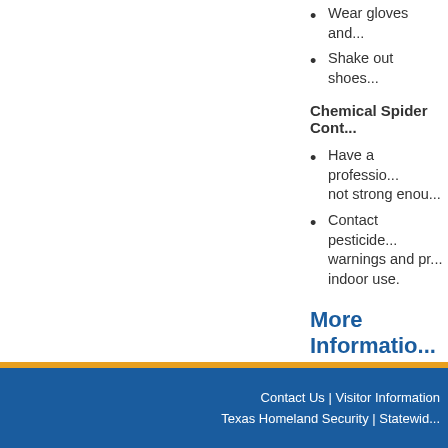Wear gloves and...
Shake out shoes...
Chemical Spider Cont...
Have a professio... not strong enou...
Contact pesticide... warnings and pr... indoor use.
More Information
https://www.cdc...
https://urbanent...
Last updated March 5, 2021
Contact Us | Visitor Information
Texas Homeland Security | Statewid...